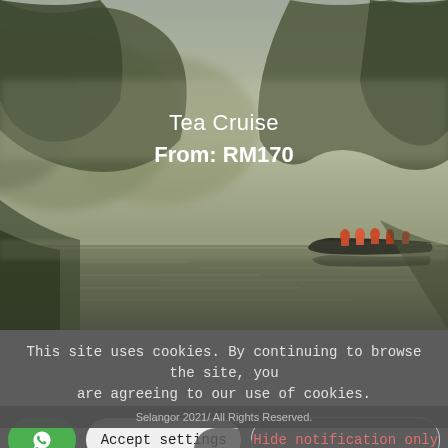[Figure (photo): Misty lake scene with a boat carrying several people in orange life jackets, surrounded by lush green forested hills in foggy/hazy conditions. Olive-green and grey tones. Text overlay reads 'Tea Cruise' and 'From: RM170' in white.]
This site uses cookies. By continuing to browse the site, you are agreeing to our use of cookies.
Accept settings
Hide notification only
Selangor 2021/ All Rights Reserved.